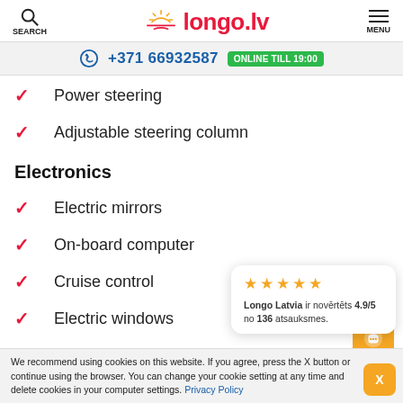SEARCH | longo.lv | MENU
+371 66932587 ONLINE TILL 19:00
Power steering
Adjustable steering column
Electronics
Electric mirrors
On-board computer
Cruise control
Electric windows
Rear view camera
Longo Latvia ir novērtēts 4.9/5 no 136 atsauksmes.
We recommend using cookies on this website. If you agree, press the X button or continue using the browser. You can change your cookie setting at any time and delete cookies in your computer settings. Privacy Policy